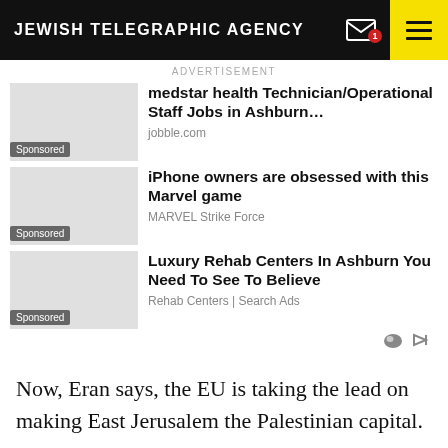JEWISH TELEGRAPHIC AGENCY
ADVERTISEMENT
[Figure (screenshot): Sponsored ad: medstar health Technician/Operational Staff Jobs in Ashburn... - jobble.com]
[Figure (screenshot): Sponsored ad: iPhone owners are obsessed with this Marvel game - MARVEL Strike Force]
[Figure (screenshot): Sponsored ad: Luxury Rehab Centers In Ashburn You Need To See To Believe - Rehab Centers | Search Ads]
Now, Eran says, the EU is taking the lead on making East Jerusalem the Palestinian capital.